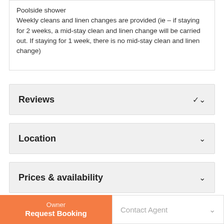Poolside shower
Weekly cleans and linen changes are provided (ie – if staying for 2 weeks, a mid-stay clean and linen change will be carried out. If staying for 1 week, there is no mid-stay clean and linen change)
Reviews
Location
Prices & availability
Facilities
Owner
Request Booking
Contact Agent